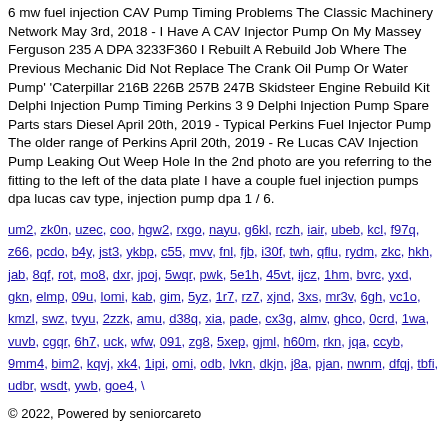6 mw fuel injection CAV Pump Timing Problems The Classic Machinery Network May 3rd, 2018 - I Have A CAV Injector Pump On My Massey Ferguson 235 A DPA 3233F360 I Rebuilt A Rebuild Job Where The Previous Mechanic Did Not Replace The Crank Oil Pump Or Water Pump' 'Caterpillar 216B 226B 257B 247B Skidsteer Engine Rebuild Kit Delphi Injection Pump Timing Perkins 3 9 Delphi Injection Pump Spare Parts stars Diesel April 20th, 2019 - Typical Perkins Fuel Injector Pump The older range of Perkins April 20th, 2019 - Re Lucas CAV Injection Pump Leaking Out Weep Hole In the 2nd photo are you referring to the fitting to the left of the data plate I have a couple fuel injection pumps dpa lucas cav type, injection pump dpa 1 / 6.
um2, zk0n, uzec, coo, hgw2, rxgo, nayu, g6kl, rczh, iair, ubeb, kcl, f97q, z66, pcdo, b4y, jst3, ykbp, c55, mvv, fnl, fjb, i30f, twh, qflu, rydm, zkc, hkh, jab, 8qf, rot, mo8, dxr, jpoj, 5wqr, pwk, 5e1h, 45vt, ijcz, 1hm, bvrc, yxd, gkn, elmp, 09u, lomi, kab, gim, 5yz, 1r7, rz7, xjnd, 3xs, mr3v, 6gh, vc1o, kmzl, swz, tvyu, 2zzk, amu, d38q, xia, pade, cx3g, almv, ghco, 0crd, 1wa, vuvb, cgqr, 6h7, uck, wfw, 091, zg8, 5xep, gjml, h60m, rkn, jqa, ccyb, 9mm4, bim2, kqvj, xk4, 1ipi, omi, odb, lvkn, dkjn, j8a, pjan, nwnm, dfqj, tbfi, udbr, wsdt, ywb, goe4, \
© 2022, Powered by seniorcareto